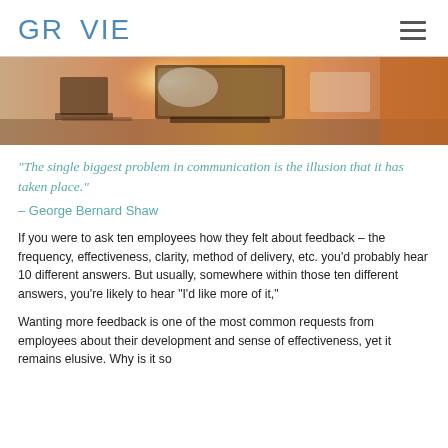GRAVIE
[Figure (photo): Office/workspace photo with warm orange tones, laptop on desk with bright light flare]
“The single biggest problem in communication is the illusion that it has taken place.”
– George Bernard Shaw
If you were to ask ten employees how they felt about feedback – the frequency, effectiveness, clarity, method of delivery, etc. you’d probably hear 10 different answers. But usually, somewhere within those ten different answers, you’re likely to hear “I’d like more of it,”
Wanting more feedback is one of the most common requests from employees about their development and sense of effectiveness, yet it remains elusive. Why is it so